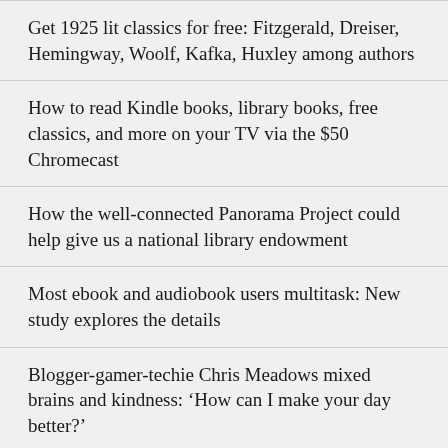Get 1925 lit classics for free: Fitzgerald, Dreiser, Hemingway, Woolf, Kafka, Huxley among authors
How to read Kindle books, library books, free classics, and more on your TV via the $50 Chromecast
How the well-connected Panorama Project could help give us a national library endowment
Most ebook and audiobook users multitask: New study explores the details
Blogger-gamer-techie Chris Meadows mixed brains and kindness: ‘How can I make your day better?’
R.I.P. our Chris Meadows: More to come on his remarkable life…